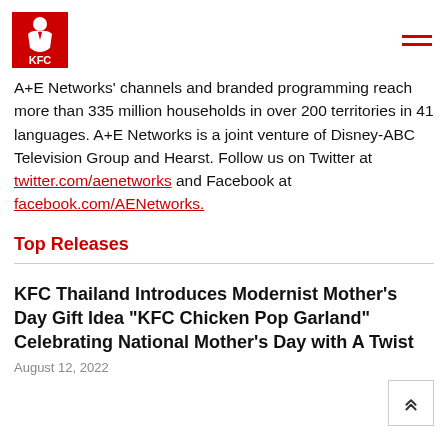KFC logo and navigation menu
A+E Networks' channels and branded programming reach more than 335 million households in over 200 territories in 41 languages. A+E Networks is a joint venture of Disney-ABC Television Group and Hearst. Follow us on Twitter at twitter.com/aenetworks and Facebook at facebook.com/AENetworks.
Top Releases
KFC Thailand Introduces Modernist Mother's Day Gift Idea "KFC Chicken Pop Garland" Celebrating National Mother's Day with A Twist
August 12, 2022